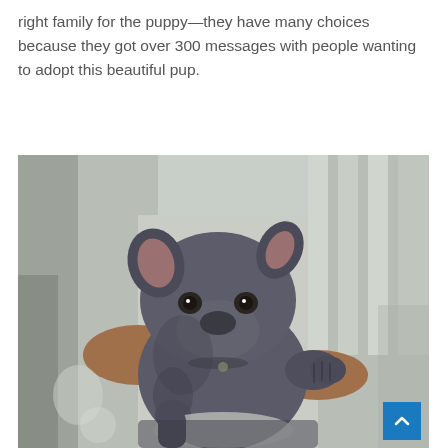right family for the puppy—they have many choices because they got over 300 messages with people wanting to adopt this beautiful pup.
[Figure (photo): A gray/blue pit bull puppy being held in someone's arms wearing a light gray jacket. The puppy faces the camera with a sad/gentle expression. Photo taken outdoors in bright sunlight.]